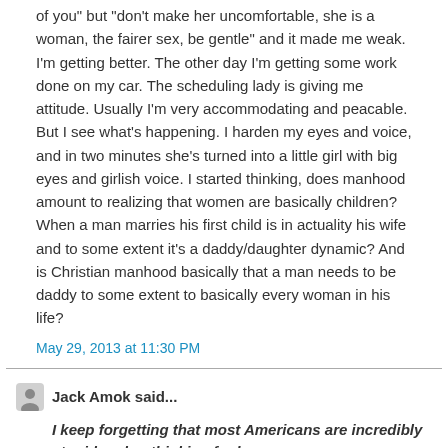of you" but "don't make her uncomfortable, she is a woman, the fairer sex, be gentle" and it made me weak. I'm getting better. The other day I'm getting some work done on my car. The scheduling lady is giving me attitude. Usually I'm very accommodating and peacable. But I see what's happening. I harden my eyes and voice, and in two minutes she's turned into a little girl with big eyes and girlish voice. I started thinking, does manhood amount to realizing that women are basically children? When a man marries his first child is in actuality his wife and to some extent it's a daddy/daughter dynamic? And is Christian manhood basically that a man needs to be daddy to some extent to basically every woman in his life?
May 29, 2013 at 11:30 PM
Jack Amok said...
I keep forgetting that most Americans are incredibly stupid and unthinking fools.
And yet oddly enough, most of them can understand what